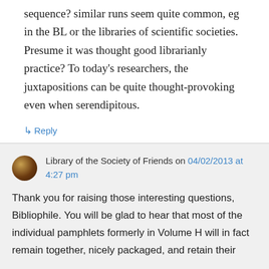sequence? similar runs seem quite common, eg in the BL or the libraries of scientific societies. Presume it was thought good librarianly practice? To today's researchers, the juxtapositions can be quite thought-provoking even when serendipitous.
↳ Reply
Library of the Society of Friends on 04/02/2013 at 4:27 pm
Thank you for raising those interesting questions, Bibliophile. You will be glad to hear that most of the individual pamphlets formerly in Volume H will in fact remain together, nicely packaged, and retain their